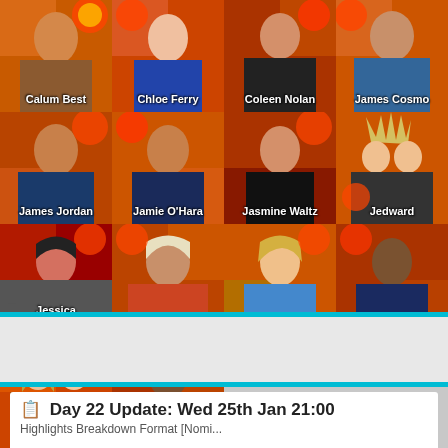[Figure (photo): Grid of Celebrity Big Brother housemates photos (4x4 grid plus 2 in bottom row). Row 1: Calum Best, Chloe Ferry, Coleen Nolan, James Cosmo. Row 2: James Jordan, Jamie O'Hara, Jasmine Waltz, Jedward. Row 3: Jessica Cunningham, Kim Woodburn, Nicola McLean, Ray J. Row 4: Speidi, Stacy Francis.]
--
[Figure (screenshot): Gray content box with a document/list icon on the right side, framed by cyan horizontal bars top and bottom.]
📋 Day 22 Update: Wed 25th Jan 21:00
Highlights Breakdown Format [Nomi...